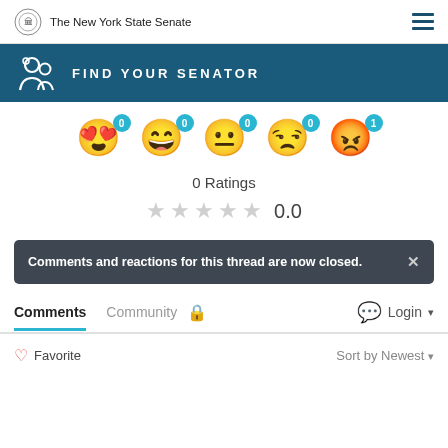The New York State Senate
FIND YOUR SENATOR
[Figure (infographic): Five reaction emojis with count badges: heart-eyes (0), grinning (0), neutral (0), skeptical (0), angry (1)]
0 Ratings
★ ★ ★ ★ ★  0.0
Comments and reactions for this thread are now closed.
Comments  Community  🔒  💬 Login ▾
♡ Favorite    Sort by Newest ▾